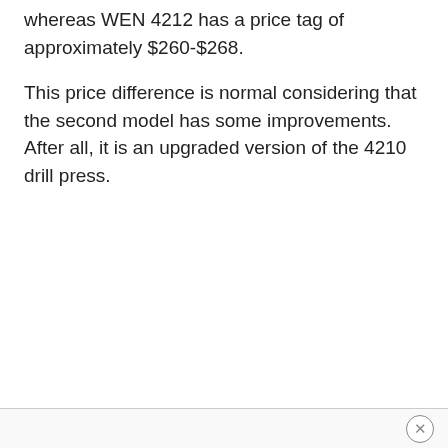whereas WEN 4212 has a price tag of approximately $260-$268.
This price difference is normal considering that the second model has some improvements. After all, it is an upgraded version of the 4210 drill press.